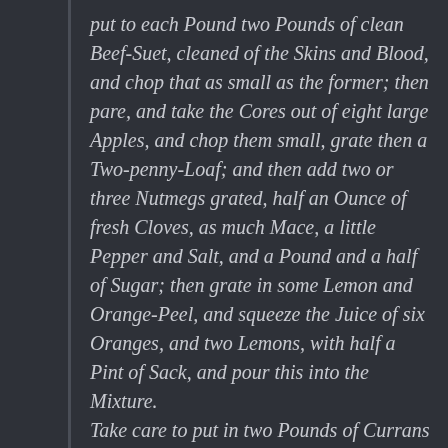put to each Pound two Pounds of clean Beef-Suet, cleaned of the Skins and Blood, and chop that as small as the former; then pare, and take the Cores out of eight large Apples, and chop them small, grate then a Two-penny-Loaf; and then add two or three Nutmegs grated, half an Ounce of fresh Cloves, as much Mace, a little Pepper and Salt, and a Pound and a half of Sugar; then grate in some Lemon and Orange-Peel, and squeeze the Juice of six Oranges, and two Lemons, with half a Pint of Sack, and pour this into the Mixture.
Take care to put in two Pounds of Currans to every Pound of Meat, and mix it well; then try a little of it over the Fire, in a Sauce-pan, and as it